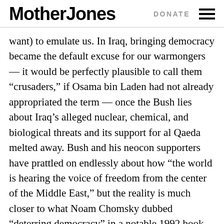Mother Jones | DONATE
want) to emulate us. In Iraq, bringing democracy became the default excuse for our warmongers — it would be perfectly plausible to call them “crusaders,” if Osama bin Laden had not already appropriated the term — once the Bush lies about Iraq’s alleged nuclear, chemical, and biological threats and its support for al Qaeda melted away. Bush and his neocon supporters have prattled on endlessly about how “the world is hearing the voice of freedom from the center of the Middle East,” but the reality is much closer to what Noam Chomsky dubbed “deterring democracy” in a notable 1992 book of that name. We have done everything in our power to see that the Iraqis did not get a “free and